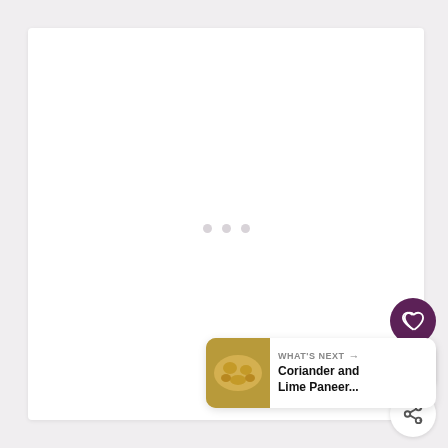[Figure (screenshot): Recipe app screenshot with a mostly blank white card area showing three grey dots (loading indicator) in the center, a dark purple heart/like button with count of 4, a share button, and a 'What's Next' card at bottom right showing 'Coriander and Lime Paneer...' with a thumbnail of the dish.]
WHAT'S NEXT → Coriander and Lime Paneer...